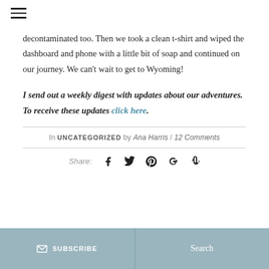☰ (hamburger menu)
decontaminated too. Then we took a clean t-shirt and wiped the dashboard and phone with a little bit of soap and continued on our journey. We can't wait to get to Wyoming!
I send out a weekly digest with updates about our adventures. To receive these updates click here.
In UNCATEGORIZED by Ana Harris / 12 Comments
Share:
SUBSCRIBE | Search